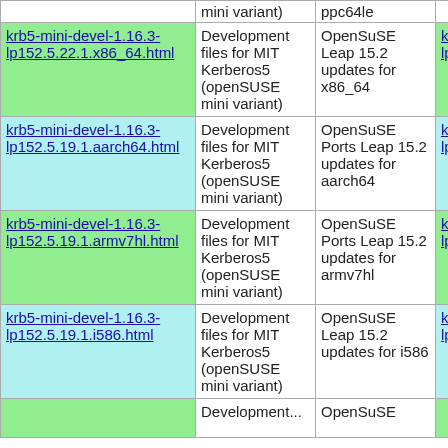| (mini variant) | ppc64le |  |  |
| krb5-mini-devel-1.16.3-lp152.5.22.1.x86_64.html | Development files for MIT Kerberos5 (openSUSE mini variant) | OpenSuSE Leap 15.2 updates for x86_64 | krb5-mini-devel-1.16.3-lp152.5.22.1.x8... |
| krb5-mini-devel-1.16.3-lp152.5.19.1.aarch64.html | Development files for MIT Kerberos5 (openSUSE mini variant) | OpenSuSE Ports Leap 15.2 updates for aarch64 | krb5-mini-devel-1.16.3-lp152.5.19.1.aa... |
| krb5-mini-devel-1.16.3-lp152.5.19.1.armv7hl.html | Development files for MIT Kerberos5 (openSUSE mini variant) | OpenSuSE Ports Leap 15.2 updates for armv7hl | krb5-mini-devel-1.16.3-lp152.5.19.1.ar... |
| krb5-mini-devel-1.16.3-lp152.5.19.1.i586.html | Development files for MIT Kerberos5 (openSUSE mini variant) | OpenSuSE Leap 15.2 updates for i586 | krb5-mini-devel-1.16.3-lp152.5.19.1.i5... |
|  | Development... | OpenSuSE |  |